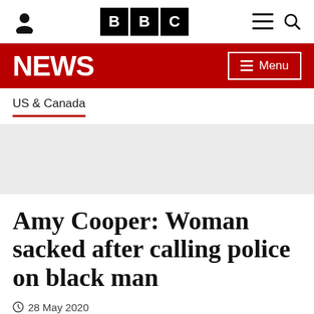BBC NEWS
US & Canada
[Figure (other): Grey advertisement placeholder area]
Amy Cooper: Woman sacked after calling police on black man
28 May 2020